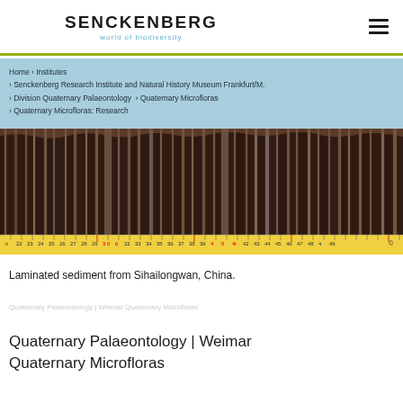SENCKENBERG world of biodiversity
Home › Institutes › Senckenberg Research Institute and Natural History Museum Frankfurt/M. › Division Quaternary Palaeontology › Quaternary Microfloras › Quaternary Microfloras: Research
[Figure (photo): Photo of laminated sediment core from Sihailongwan, China, with a yellow measuring tape along the bottom showing scale markings from approximately 22 to 49. Copyright symbol visible at right edge.]
Laminated sediment from Sihailongwan, China.
Quaternary Palaeontology | Weimar Quaternary Microfloras